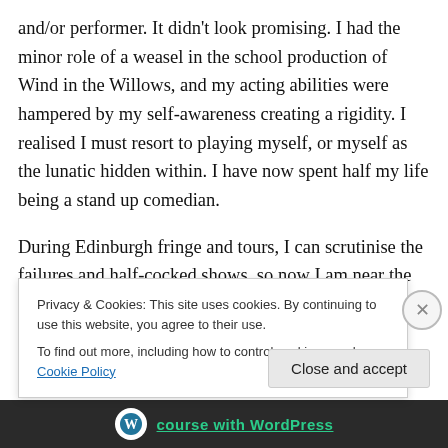and/or performer. It didn't look promising. I had the minor role of a weasel in the school production of Wind in the Willows, and my acting abilities were hampered by my self-awareness creating a rigidity. I realised I must resort to playing myself, or myself as the lunatic hidden within. I have now spent half my life being a stand up comedian.
During Edinburgh fringe and tours, I can scrutinise the failures and half-cocked shows, so now I am near the end of this run, I dare to be positive.
Whenever people ask what I would have done if I wasn't a...
Privacy & Cookies: This site uses cookies. By continuing to use this website, you agree to their use.
To find out more, including how to control cookies, see here: Cookie Policy
Close and accept
course with WordPress